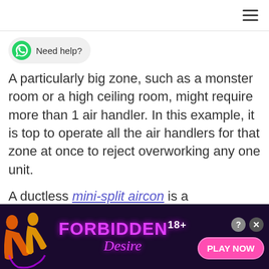≡
[Figure (other): WhatsApp 'Need help?' chat button with green WhatsApp icon]
A particularly big zone, such as a monster room or a high ceiling room, might require more than 1 air handler. In this example, it is top to operate all the air handlers for that zone at once to reject overworking any one unit.
A ductless mini-split aircon is a
[Figure (other): Advertisement banner: Forbidden Desire 18+ adult game ad with 'PLAY NOW' button on dark purple background]